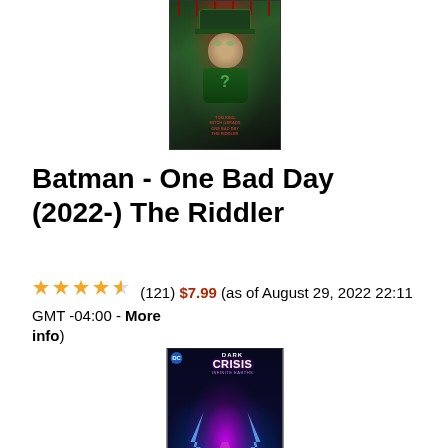[Figure (illustration): Comic book cover for Batman - One Bad Day: The Riddler, showing a figure in a green suit and hat against a dark green background with red blood drips at top]
Batman - One Bad Day (2022-) The Riddler
★★★★½ (121) $7.99 (as of August 29, 2022 22:11 GMT -04:00 - More info)
[Figure (illustration): Comic book cover for Dark Crisis: Infinite Earths, showing a glowing figure with lightning effects against a dark blue/purple cosmic background, with the Dark Crisis logo at top]